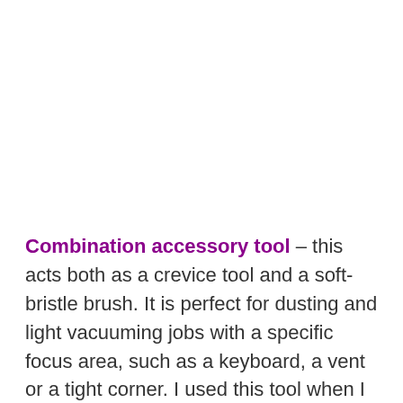Combination accessory tool – this acts both as a crevice tool and a soft-bristle brush. It is perfect for dusting and light vacuuming jobs with a specific focus area, such as a keyboard, a vent or a tight corner. I used this tool when I was detailing my car as well, specifically for dusting small crevices and corners, the air vents and those sneaky areas